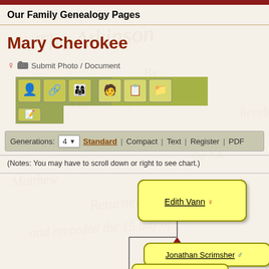Our Family Genealogy Pages
Mary Cherokee
♀  📷 Submit Photo / Document
[Figure (screenshot): Toolbar with genealogy navigation icons in olive/green color scheme, arranged in two rows]
Generations: 4  Standard | Compact | Text | Register | PDF
(Notes: You may have to scroll down or right to see chart.)
[Figure (organizational-chart): Partial family tree showing Edith Vann (female) connected to Jonathan Scrimsher (male) with yellow rounded boxes and connecting lines on a watermarked parchment background]